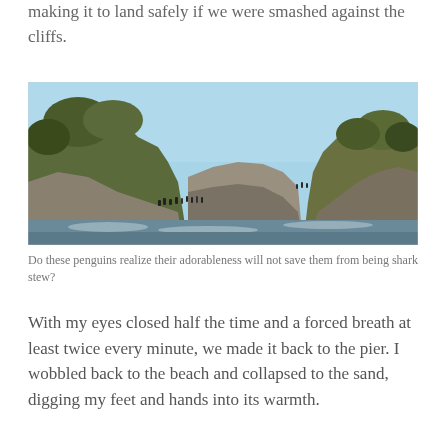making it to land safely if we were smashed against the cliffs.
[Figure (photo): Rocky coastal cliffs with green vegetation on top, penguins visible on the rocks at water level, clear blue sky, ocean water in the foreground.]
Do these penguins realize their adorableness will not save them from being shark stew?
With my eyes closed half the time and a forced breath at least twice every minute, we made it back to the pier. I wobbled back to the beach and collapsed to the sand, digging my feet and hands into its warmth.